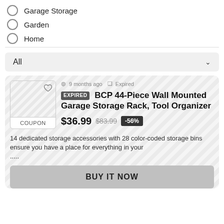Garage Storage
Garden
Home
All
9 months ago  Expired
EXPIRED BCP 44-Piece Wall Mounted Garage Storage Rack, Tool Organizer
$36.99  $83.99  -56%
COUPON
14 dedicated storage accessories with 28 color-coded storage bins ensure you have a place for everything in your .....
BUY IT NOW